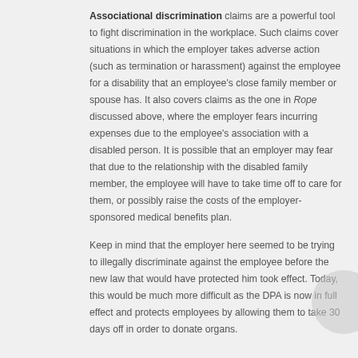Associational discrimination claims are a powerful tool to fight discrimination in the workplace. Such claims cover situations in which the employer takes adverse action (such as termination or harassment) against the employee for a disability that an employee's close family member or spouse has. It also covers claims as the one in Rope discussed above, where the employer fears incurring expenses due to the employee's association with a disabled person. It is possible that an employer may fear that due to the relationship with the disabled family member, the employee will have to take time off to care for them, or possibly raise the costs of the employer-sponsored medical benefits plan.
Keep in mind that the employer here seemed to be trying to illegally discriminate against the employee before the new law that would have protected him took effect. Today, this would be much more difficult as the DPA is now in full effect and protects employees by allowing them to take 30 days off in order to donate organs.